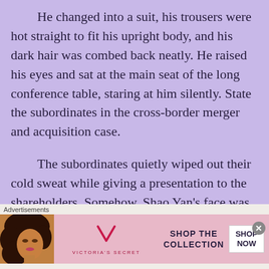He changed into a suit, his trousers were hot straight to fit his upright body, and his dark hair was combed back neatly. He raised his eyes and sat at the main seat of the long conference table, staring at him silently. State the subordinates in the cross-border merger and acquisition case.
The subordinates quietly wiped out their cold sweat while giving a presentation to the shareholders. Somehow, Shao Yan's face was not gloomy today, but he was extra serious.
When he faced Yan Shao's dark eyes, he ha
[Figure (other): Victoria's Secret advertisement banner with a woman model, VS logo, 'SHOP THE COLLECTION' text, and a 'SHOP NOW' button on a pink background. Labeled 'Advertisements'.]